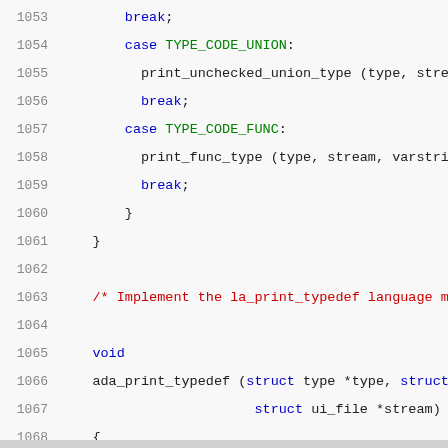Code listing lines 1053-1071 showing C source code for ada_print_typedef function
1053        break;
1054        case TYPE_CODE_UNION:
1055          print_unchecked_union_type (type, strea
1056          break;
1057        case TYPE_CODE_FUNC:
1058          print_func_type (type, stream, varstrin
1059          break;
1060        }
1061    }
1062
1063    /* Implement the la_print_typedef language meth
1064
1065    void
1066    ada_print_typedef (struct type *type, struct sy
1067                        struct ui_file *stream)
1068    {
1069      type = ada_check_typedef (type);
1070      ada_print_type (type, "", stream, 0, 0, &type
1071    }